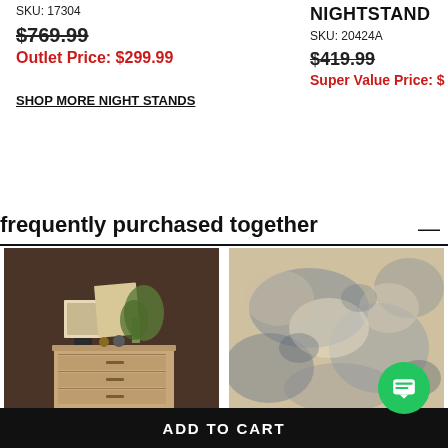SKU: 17304
$769.99 (strikethrough)
Outlet Price: $299.99
NIGHTSTAND
SKU: 20424A
$419.99 (strikethrough)
Super Value Price: $
SHOP MORE NIGHT STANDS
frequently purchased together
[Figure (photo): A tall wooden dresser with multiple drawers on a dark brown background, decorated with framed artwork and plant on top]
[Figure (photo): A close-up of a distressed beige and blue abstract area rug texture]
ADD TO CART